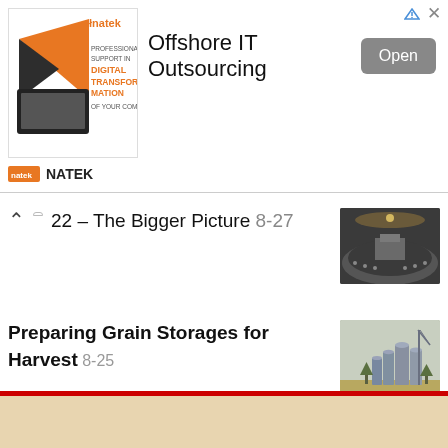[Figure (screenshot): Natek advertisement banner for Offshore IT Outsourcing with logo image, Open button, and brand name]
22 – The Bigger Picture 8-27
[Figure (photo): Photo of a legislative chamber/Congress hall]
Preparing Grain Storages for Harvest 8-25
[Figure (photo): Photo of grain storage silos in a field]